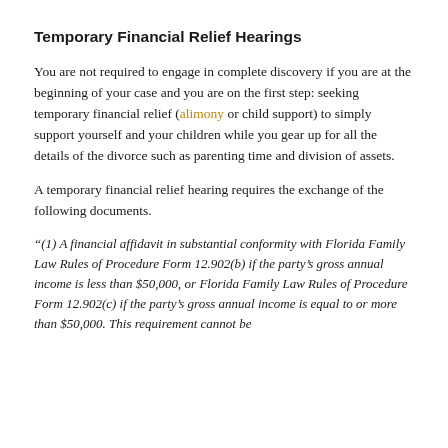Temporary Financial Relief Hearings
You are not required to engage in complete discovery if you are at the beginning of your case and you are on the first step: seeking temporary financial relief (alimony or child support) to simply support yourself and your children while you gear up for all the details of the divorce such as parenting time and division of assets.
A temporary financial relief hearing requires the exchange of the following documents.
“(1) A financial affidavit in substantial conformity with Florida Family Law Rules of Procedure Form 12.902(b) if the party’s gross annual income is less than $50,000, or Florida Family Law Rules of Procedure Form 12.902(c) if the party’s gross annual income is equal to or more than $50,000. This requirement cannot be